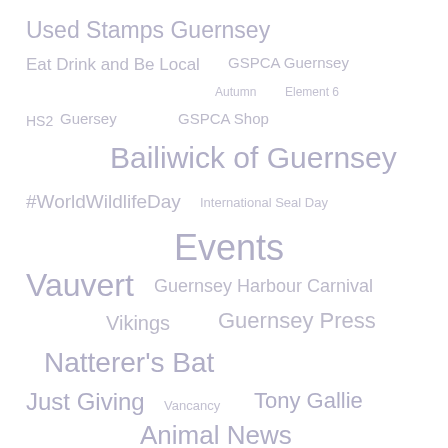[Figure (infographic): Tag cloud / word cloud containing terms related to Guernsey and GSPCA topics. Words appear in varying sizes and shades of gray/purple, arranged across the page. Terms include: Used Stamps Guernsey, Eat Drink and Be Local, GSPCA Guernsey, Autumn, Element 6, HS2, Guersey, GSPCA Shop, Bailiwick of Guernsey, #WorldWildlifeDay, International Seal Day, Events, Vauvert, Guernsey Harbour Carnival, Vikings, Guernsey Press, Natterer's Bat, Just Giving, Vancancy, Tony Gallie, Animal News, Crystal Serenity, Firework, Chipping, Voluntourists, States of Guernsey, Stories from Gert the duck and friends, Community Foundation, Volunteerng]